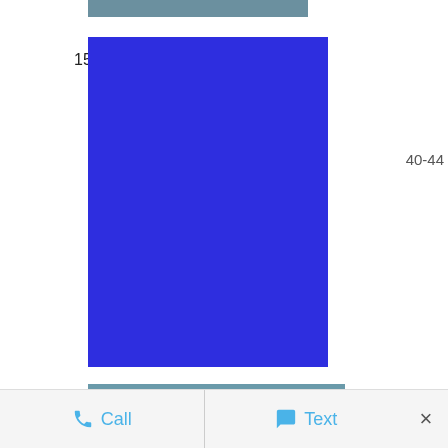[Figure (bar-chart): Age group population counts]
Call   Text